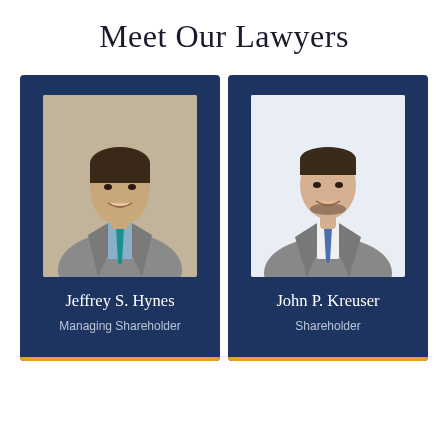Meet Our Lawyers
[Figure (photo): Professional headshot of Jeffrey S. Hynes, a middle-aged man in a gray suit with a teal tie, smiling]
Jeffrey S. Hynes
Managing Shareholder
[Figure (photo): Professional headshot of John P. Kreuser, a young man in a gray suit with a blue tie, smiling against a white background]
John P. Kreuser
Shareholder